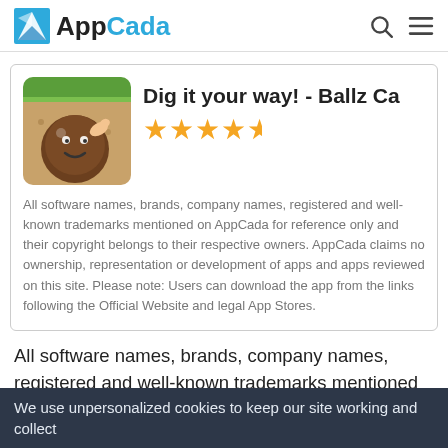AppCada
Dig it your way! - Ballz Ca
[Figure (illustration): App icon for Dig it your way! - Ballz Cave game, showing a cartoon smiley face ball character on a brown background with green top]
All software names, brands, company names, registered and well-known trademarks mentioned on AppCada for reference only and their copyright belongs to their respective owners. AppCada claims no ownership, representation or development of apps and apps reviewed on this site. Please note: Users can download the app from the links following the Official Website and legal App Stores.
All software names, brands, company names, registered and well-known trademarks mentioned on AppCada for reference only and their copyright belongs to their respective owners.
We use unpersonalized cookies to keep our site working and collect